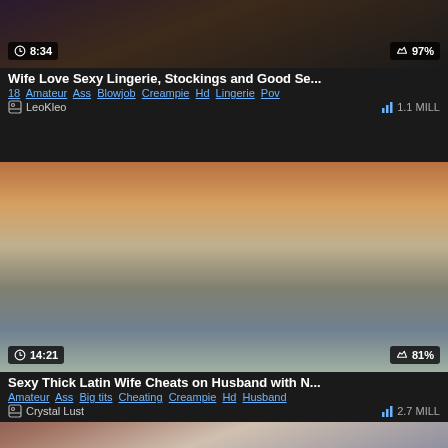[Figure (screenshot): Video thumbnail - partial view of lingerie/stockings content, dark background, duration 8:34, rating 97%]
Wife Love Sexy Lingerie, Stockings and Good Se...
18  Amateur  Ass  Blowjob  Creampie  Hd  Lingerie  Pov
LeoKleo   1.1 MILL
[Figure (screenshot): Video thumbnail - adult content on sofa, duration 14:21, rating 81%]
Sexy Thick Latin Wife Cheats on Husband with N...
Amateur  Ass  Big tits  Cheating  Creampie  Hd  Husband
Crystal Lust   2.7 MILL
[Figure (screenshot): Video thumbnail - EroComTV watermark visible, partial view of woman]